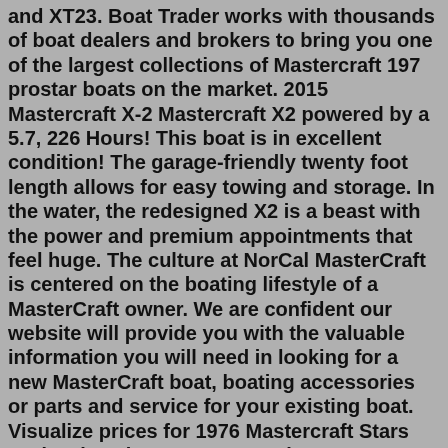and XT23. Boat Trader works with thousands of boat dealers and brokers to bring you one of the largest collections of Mastercraft 197 prostar boats on the market. 2015 Mastercraft X-2 Mastercraft X2 powered by a 5.7, 226 Hours! This boat is in excellent condition! The garage-friendly twenty foot length allows for easy towing and storage. In the water, the redesigned X2 is a beast with the power and premium appointments that feel huge. The culture at NorCal MasterCraft is centered on the boating lifestyle of a MasterCraft owner. We are confident our website will provide you with the valuable information you will need in looking for a new MasterCraft boat, boating accessories or parts and service for your existing boat. Visualize prices for 1976 Mastercraft Stars And Stripes in USA on a graph. Compare vehicle values in USA. Browse used boat for sale and recent sales. ... For Sale 1976 Stars And Stripes n/a. 3995. craigslist 8/20 - 11:21 Denver, CO Oday'22 motor and trailer . Sold 1976 Stars And Stripes n/a. 325.muskegon for sale "mastercraft" - craigslist - muskegon > for sale